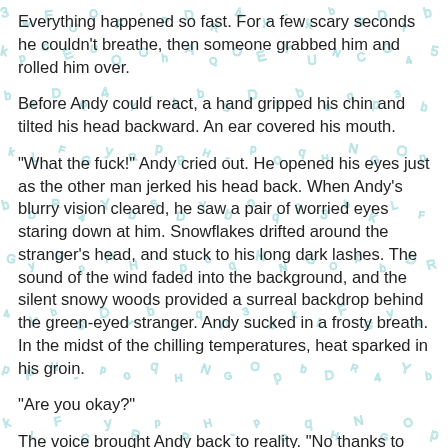[Figure (illustration): Background of scattered teal/light-blue letters and symbols on a white background, giving a decorative typographic texture.]
Everything happened so fast. For a few scary seconds he couldn't breathe, then someone grabbed him and rolled him over.
Before Andy could react, a hand gripped his chin and tilted his head backward. An ear covered his mouth.
"What the fuck!" Andy cried out. He opened his eyes just as the other man jerked his head back. When Andy's blurry vision cleared, he saw a pair of worried eyes staring down at him. Snowflakes drifted around the stranger's head, and stuck to his long dark lashes. The sound of the wind faded into the background, and the silent snowy woods provided a surreal backdrop behind the green-eyed stranger. Andy sucked in a frosty breath. In the midst of the chilling temperatures, heat sparked in his groin.
"Are you okay?"
The voice brought Andy back to reality. "No thanks to you."
Andy attempted to get up, but Green-eyes gripped his arms and held him down. "Don't move, you might have broken